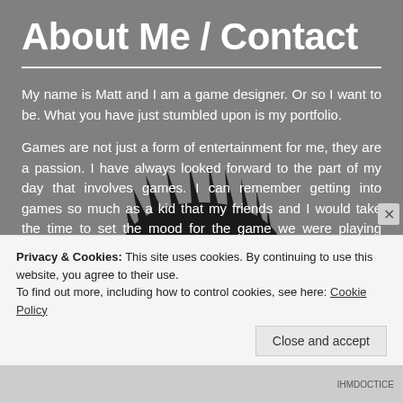About Me / Contact
My name is Matt and I am a game designer.  Or so I want to be. What you have just stumbled upon is my portfolio.
Games are not just a form of entertainment for me, they are a passion.  I have always looked forward to the part of my day that involves games.  I can remember getting into games so much as a kid that my friends and I would take the time to set the mood for the game we were playing beforehand.  It may sound cheesy, but some of my fondest memories are of games and the people who
[Figure (illustration): Cartoon illustration of a man with spiky dark hair and glasses, wearing dark clothing, in the background behind the text]
Privacy & Cookies: This site uses cookies. By continuing to use this website, you agree to their use.
To find out more, including how to control cookies, see here: Cookie Policy
Close and accept